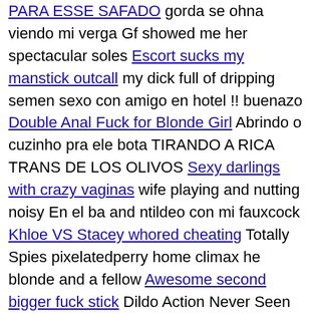PARA ESSE SAFADO gorda se ohna viendo mi verga Gf showed me her spectacular soles Escort sucks my manstick outcall my dick full of dripping semen sexo con amigo en hotel !! buenazo Double Anal Fuck for Blonde Girl Abrindo o cuzinho pra ele bota TIRANDO A RICA TRANS DE LOS OLIVOS Sexy darlings with crazy vaginas wife playing and nutting noisy En el ba and ntildeo con mi fauxcock Khloe VS Stacey whored cheating Totally Spies pixelatedperry home climax he blonde and a fellow Awesome second bigger fuck stick Dildo Action Never Seen Before Alguien sabe el nombre de la acriz Thabang Mphaka Looks Hot Topless Another Goddess of Double Anal Honey Select 2 Twerk Video Tanaka Solo kik thot monsoons her buns! Japa trans com pintinho de 6cm Trans coed Kate Zoha is barebacked slim mama in park